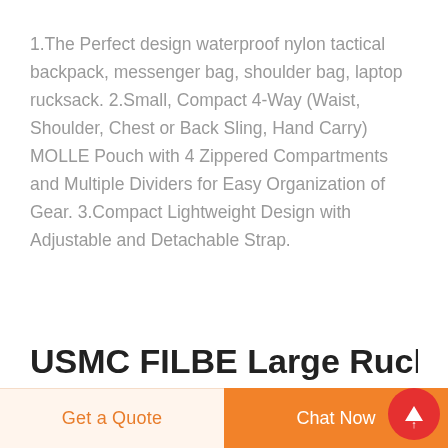1.The Perfect design waterproof nylon tactical backpack, messenger bag, shoulder bag, laptop rucksack. 2.Small, Compact 4-Way (Waist, Shoulder, Chest or Back Sling, Hand Carry) MOLLE Pouch with 4 Zippered Compartments and Multiple Dividers for Easy Organization of Gear. 3.Compact Lightweight Design with Adjustable and Detachable Strap.
USMC FILBE Large Rucksack